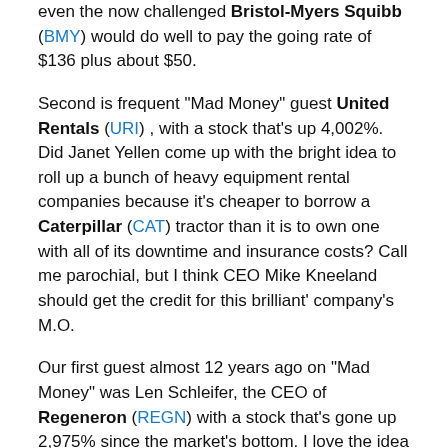even the now challenged Bristol-Myers Squibb (BMY) would do well to pay the going rate of $136 plus about $50.
Second is frequent "Mad Money" guest United Rentals (URI) , with a stock that's up 4,002%. Did Janet Yellen come up with the bright idea to roll up a bunch of heavy equipment rental companies because it's cheaper to borrow a Caterpillar (CAT) tractor than it is to own one with all of its downtime and insurance costs? Call me parochial, but I think CEO Mike Kneeland should get the credit for this brilliant' company's M.O.
Our first guest almost 12 years ago on "Mad Money" was Len Schleifer, the CEO of Regeneron (REGN) with a stock that's gone up 2,975% since the market's bottom. I love the idea of low interest rates. In fact it's created a whole class of good acting stocks called bond market equivalents, like the consumer packaged goods, and real estate investment trusts and utilities. But Len's Regeneron isn't one of them.